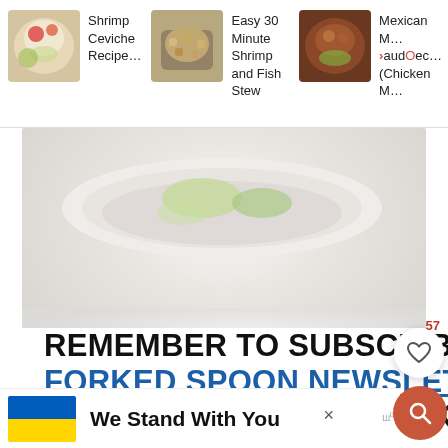[Figure (screenshot): Website screenshot showing a food blog page with navigation bar at top containing three recipe thumbnails (Shrimp Ceviche Recipe, Easy 30 Minute Shrimp and Fish Stew, Mexican M... Sauce... (Chicken M...)), a large food photo below, white space, then a newsletter subscription call-to-action text, floating heart/search buttons, and a Ukraine support banner at bottom.]
Shrimp Ceviche Recipe…
Easy 30 Minute Shrimp and Fish Stew
Mexican M… Sauce… (Chicken M…
REMEMBER TO SUBSCRIBE TO THE FORKED SPOON NEWSLETTER FOR FREE AND RECEIVE WEEKLY R... D...
57
We Stand With You